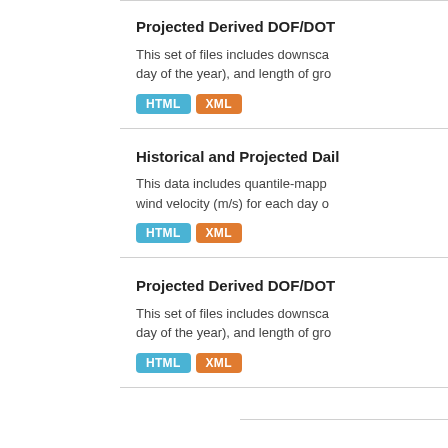Projected Derived DOF/DO...
This set of files includes downscaled... day of the year), and length of gro...
HTML XML
Historical and Projected Dail...
This data includes quantile-mapp... wind velocity (m/s) for each day o...
HTML XML
Projected Derived DOF/DO...
This set of files includes downscaled... day of the year), and length of gro...
HTML XML